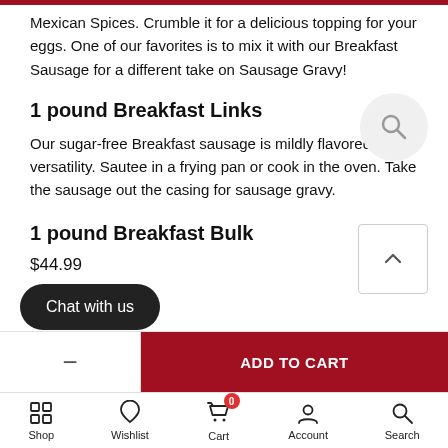Mexican Spices. Crumble it for a delicious topping for your eggs. One of our favorites is to mix it with our Breakfast Sausage for a different take on Sausage Gravy!
1 pound Breakfast Links
Our sugar-free Breakfast sausage is mildly flavored for versatility. Sautee in a frying pan or cook in the oven. Take the sausage out the casing for sausage gravy.
1 pound Breakfast Bulk
$44.99
ADD TO CART
Chat with us
Shop | Wishlist | Cart | Account | Search